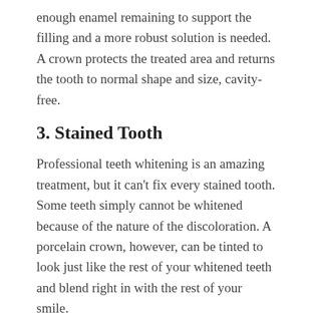enough enamel remaining to support the filling and a more robust solution is needed. A crown protects the treated area and returns the tooth to normal shape and size, cavity-free.
3. Stained Tooth
Professional teeth whitening is an amazing treatment, but it can't fix every stained tooth. Some teeth simply cannot be whitened because of the nature of the discoloration. A porcelain crown, however, can be tinted to look just like the rest of your whitened teeth and blend right in with the rest of your smile.
4. Infected Tooth